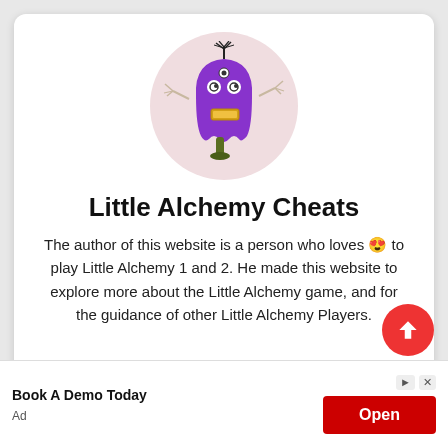[Figure (illustration): Purple cartoon monster/ghost character with three eyes, twig-like arms, holding a gold bar, standing on a small tree trunk, inside a pink circle background]
Little Alchemy Cheats
The author of this website is a person who loves 😍 to play Little Alchemy 1 and 2. He made this website to explore more about the Little Alchemy game, and for the guidance of other Little Alchemy Players.
Book A Demo Today
Ad